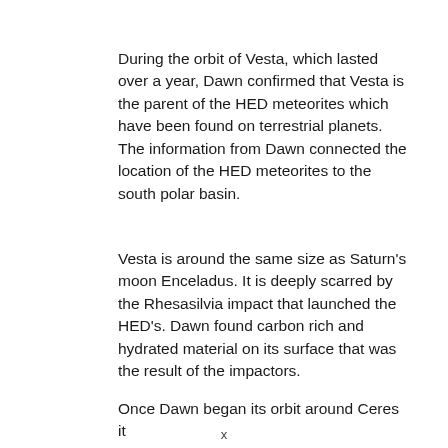During the orbit of Vesta, which lasted over a year, Dawn confirmed that Vesta is the parent of the HED meteorites which have been found on terrestrial planets. The information from Dawn connected the location of the HED meteorites to the south polar basin.
Vesta is around the same size as Saturn's moon Enceladus. It is deeply scarred by the Rhesasilvia impact that launched the HED's. Dawn found carbon rich and hydrated material on its surface that was the result of the impactors.
Once Dawn began its orbit around Ceres it
x